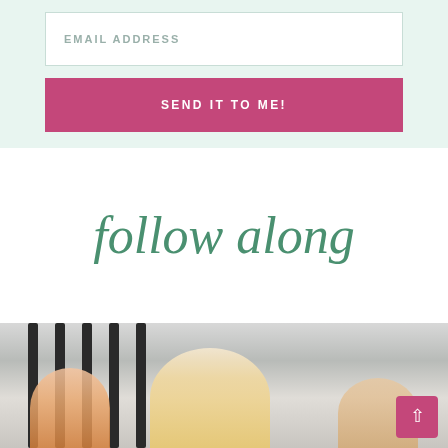EMAIL ADDRESS
SEND IT TO ME!
follow along
[Figure (photo): Photo of women sitting together and laughing on a staircase with black metal railing, viewed from below]